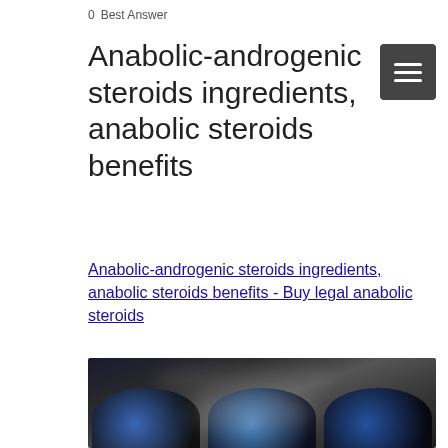0 Best Answer
Anabolic-androgenic steroids ingredients, anabolic steroids benefits
Anabolic-androgenic steroids ingredients, anabolic steroids benefits - Buy legal anabolic steroids
[Figure (photo): Blurred dark photograph showing supplements or steroids products with circular product images at the bottom]